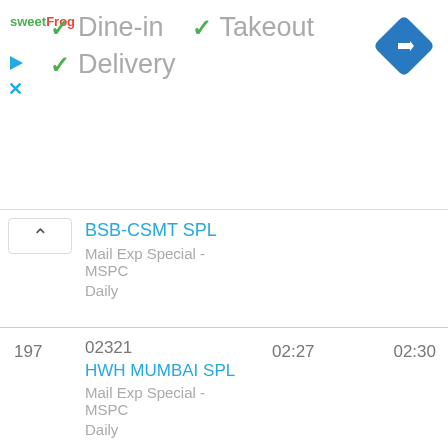[Figure (logo): sweetFrog logo in green and red text]
✓ Dine-in  ✓ Takeout
✓ Delivery
[Figure (other): Blue diamond navigation arrow icon]
BSB-CSMT SPL
Mail Exp Special - MSPC
Daily
197  02321
HWH MUMBAI SPL
Mail Exp Special - MSPC
Daily
02:27  02:30
198  02322
KOLKATA MAIL
Mail Exp Special - MSPC
Daily
07:33  07:35